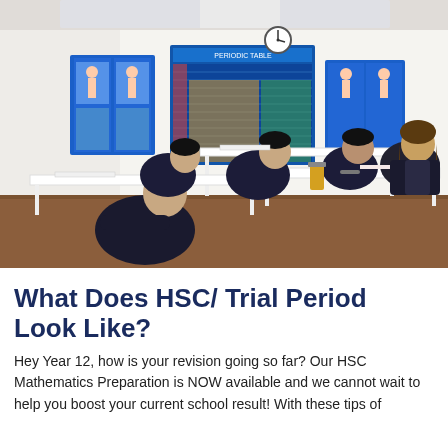[Figure (photo): Classroom photo showing students studying at white tables in a tutoring centre. Educational posters including a periodic table and anatomy charts are on the white walls. A teacher/tutor is seated on the right. Students are writing and working at desks.]
What Does HSC/ Trial Period Look Like?
Hey Year 12, how is your revision going so far? Our HSC Mathematics Preparation is NOW available and we cannot wait to help you boost your current school result! With these tips of